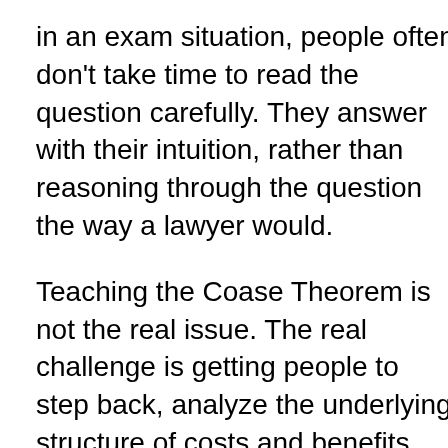in an exam situation, people often don't take time to read the question carefully. They answer with their intuition, rather than reasoning through the question the way a lawyer would.
Teaching the Coase Theorem is not the real issue. The real challenge is getting people to step back, analyze the underlying structure of costs and benefits, and systematically work through all possible outcomes. That I fail to do.
p.s. Eric Crampton has a number of interesting Coase-